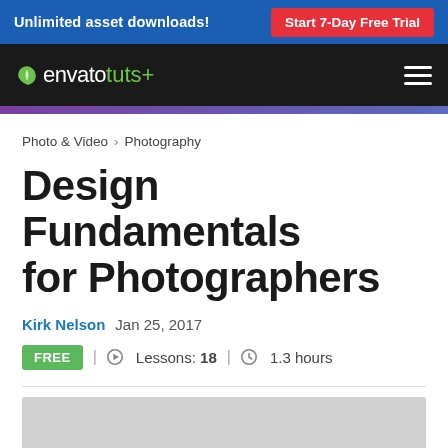Unlimited asset downloads! | Start 7-Day Free Trial
[Figure (logo): Envato Tuts+ logo with leaf icon on dark background, with hamburger menu]
Photo & Video > Photography
Design Fundamentals for Photographers
Kirk Nelson  Jan 25, 2017
FREE | Lessons: 18 | 1.3 hours